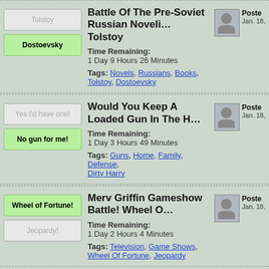Battle Of The Pre-Soviet Russian Novelists: Dostoevsky Vs. Tolstoy
Time Remaining: 1 Day 9 Hours 26 Minutes
Tags: Novels, Russians, Books, Tolstoy, Dostoevsky
Would You Keep A Loaded Gun In The House?
Time Remaining: 1 Day 3 Hours 49 Minutes
Tags: Guns, Home, Family, Defense, Dirty Harry
Merv Griffin Gameshow Battle! Wheel Of Fortune vs Jeopardy!
Time Remaining: 1 Day 2 Hours 4 Minutes
Tags: Television, Game Shows, Wheel Of Fortune, Jeopardy